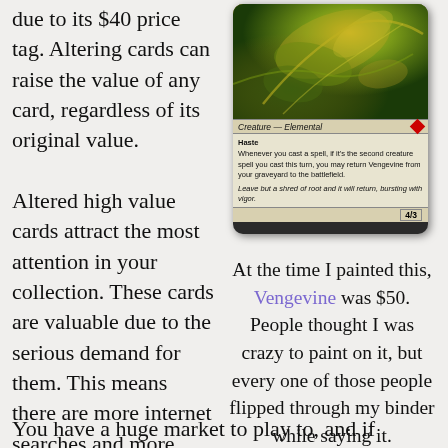due to its $40 price tag. Altering cards can raise the value of any card, regardless of its original value.
[Figure (photo): A Magic: The Gathering card called Vengevine with altered art. Shows Creature — Elemental type with Haste ability, 4/3 stats. Rules text about returning from graveyard when second creature spell is cast. Flavor text: 'Leave but a shred of root and it will return, bursting with vigor.']
Altered high value cards attract the most attention in your collection. These cards are valuable due to the serious demand for them. This means there are more internet searches and more binder inquiries. You have a huge market to play to, and if
At the time I painted this, Vengevine was $50. People thought I was crazy to paint on it, but every one of those people flipped through my binder while saying it.